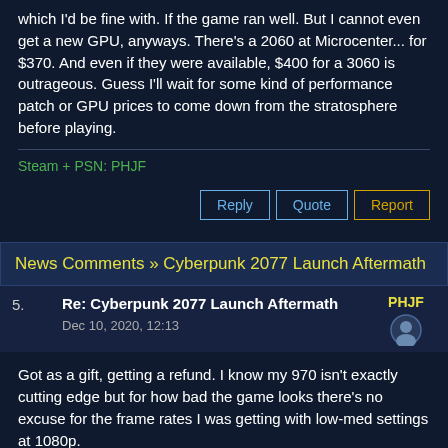which I'd be fine with. If the game ran well. But I cannot even get a new GPU, anyways. There's a 2060 at Microcenter... for $370. And even if they were available, $400 for a 3060 is outrageous. Guess I'll wait for some kind of performance patch or GPU prices to come down from the stratosphere before playing.
Steam + PSN: PHJF
Reply | Quote | Report
News Comments » Cyberpunk 2077 Launch Aftermath
5. Re: Cyberpunk 2077 Launch Aftermath PHJF Dec 10, 2020, 12:13
Got as a gift, getting a refund. I know my 970 isn't exactly cutting edge but for how bad the game looks there's no excuse for the frame rates I was getting with low-med settings at 1080p.
Steam + PSN: PHJF